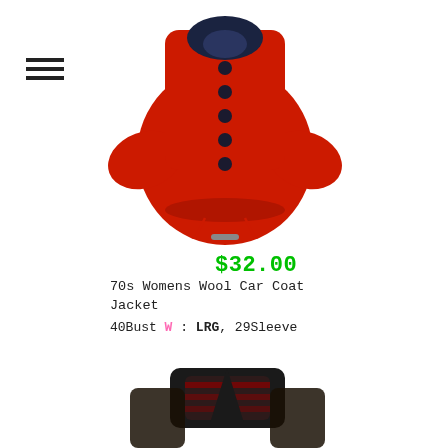[Figure (photo): Red wool car coat jacket with dark navy collar and black buttons, drawstring at waist, displayed on a hanger against white background]
$32.00
70s Womens Wool Car Coat Jacket
40Bust W : LRG, 29Sleeve
[Figure (photo): Partial view of another jacket with dark collar and patterned fabric, showing collar and upper chest area]